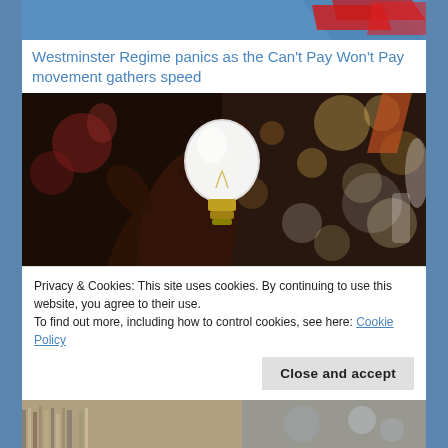[Figure (photo): Partial view of a webpage with blue background; top image area showing red graphic elements on blue background (partially cropped at top)]
Westminster Regime panics as the Can't Pay Won't Pay movement gathers speed
[Figure (photo): A hand holding up a light bulb against a blurred background of various light fixtures in a store or showroom]
American-Backed Ukrainian Army's multiple attempts
Privacy & Cookies: This site uses cookies. By continuing to use this website, you agree to their use.
To find out more, including how to control cookies, see here: Cookie Policy
Close and accept
[Figure (photo): Bottom strip showing a partial image, appears to be a crowd or street scene]